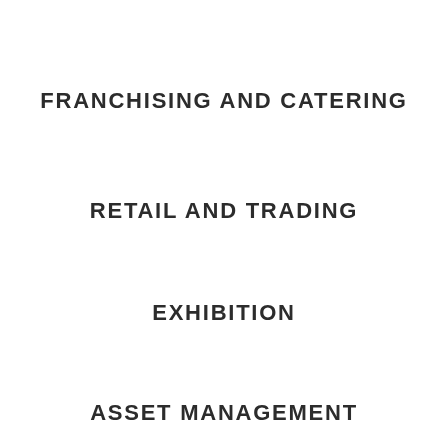FRANCHISING AND CATERING
RETAIL AND TRADING
EXHIBITION
ASSET MANAGEMENT